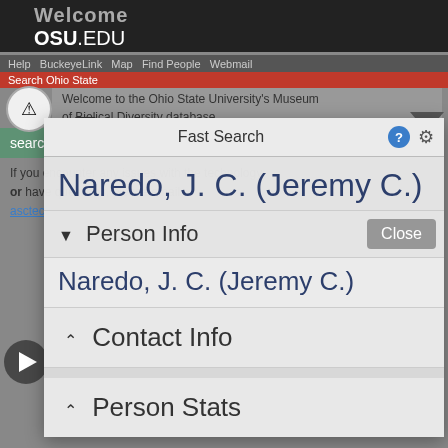Welcome OSU.EDU
Help  BuckeyeLink  Map  Find People  Webmail
Search Ohio State
Welcome to the Ohio State University's Museum of Biological Diversity database.
Fast Search
Naredo, J. C. (Jeremy C.)
▼ Person Info
Naredo, J. C. (Jeremy C.)
Close
^ Contact Info
^ Person Stats